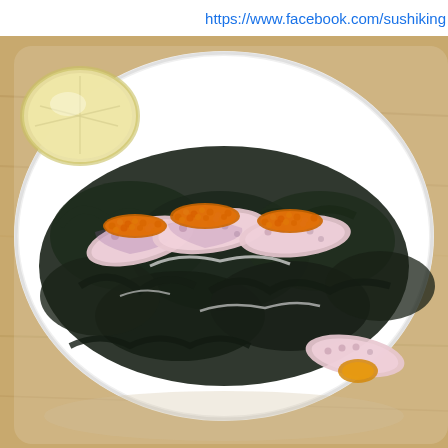https://www.facebook.com/sushiking
[Figure (photo): A white rectangular plate with sliced octopus (tako) topped with orange fish roe (tobiko/masago), served on a bed of dark seaweed (wakame), with a lemon wedge garnish. The plate is set on a light wooden table surface.]